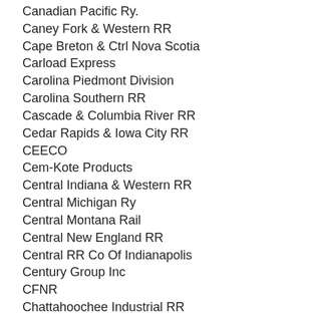Canadian Pacific Ry.
Caney Fork & Western RR
Cape Breton & Ctrl Nova Scotia
Carload Express
Carolina Piedmont Division
Carolina Southern RR
Cascade & Columbia River RR
Cedar Rapids & Iowa City RR
CEECO
Cem-Kote Products
Central Indiana & Western RR
Central Michigan Ry
Central Montana Rail
Central New England RR
Central RR Co Of Indianapolis
Century Group Inc
CFNR
Chattahoochee Industrial RR
Chattooga & Chickamauga Ry
Chestnut Ridge Ry Co
Chgo So. Shore & So. Bend RR
Chicago Rail Link
Chicago Short Line RY
Chiltern Railways